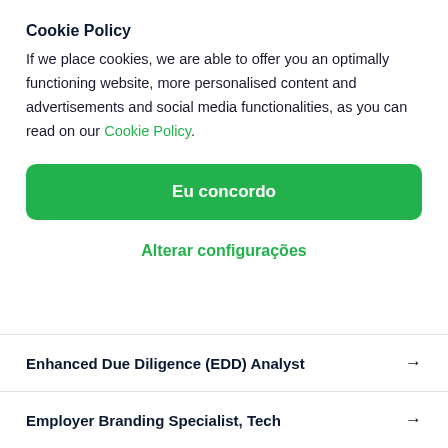Cookie Policy
If we place cookies, we are able to offer you an optimally functioning website, more personalised content and advertisements and social media functionalities, as you can read on our Cookie Policy.
Eu concordo
Alterar configurações
Enhanced Due Diligence (EDD) Analyst →
Employer Branding Specialist, Tech →